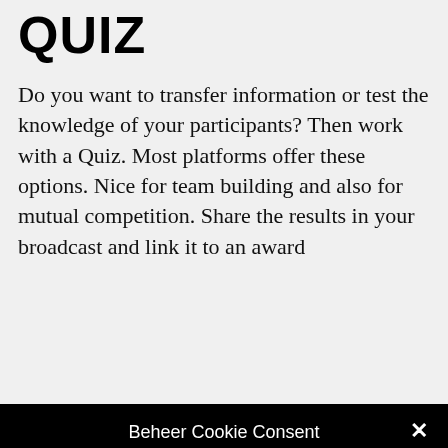QUIZ
Do you want to transfer information or test the knowledge of your participants? Then work with a Quiz. Most platforms offer these options. Nice for team building and also for mutual competition. Share the results in your broadcast and link it to an award
Beheer Cookie Consent
We maken gebruik van cookies
Accepteer cookies
Weigeren
Voorkeuren